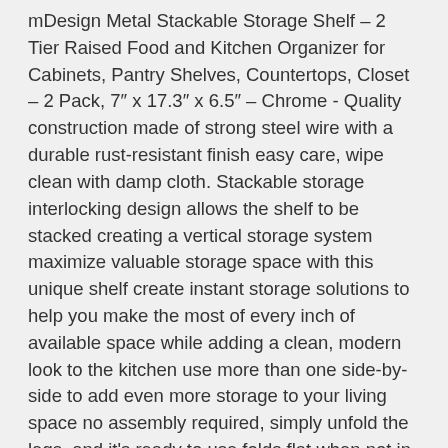mDesign Metal Stackable Storage Shelf – 2 Tier Raised Food and Kitchen Organizer for Cabinets, Pantry Shelves, Countertops, Closet – 2 Pack, 7" x 17.3" x 6.5" – Chrome - Quality construction made of strong steel wire with a durable rust-resistant finish easy care, wipe clean with damp cloth. Stackable storage interlocking design allows the shelf to be stacked creating a vertical storage system maximize valuable storage space with this unique shelf create instant storage solutions to help you make the most of every inch of available space while adding a clean, modern look to the kitchen use more than one side-by-side to add even more storage to your living space no assembly required, simply unfold the legs, and it's ready to use folds flat when not in use. Functional & versatile instantly create additional storage in crowded work areas, shelves, closets, cabinets and more use in kitchens as well as throughout the house perfect for storing and organizing perfumes, lotions, body sprays, makeup, and cosmetics in the bathroom create storage in your home office for note pads, stapler, sticky notes, tape and other office supplies try in laundry room